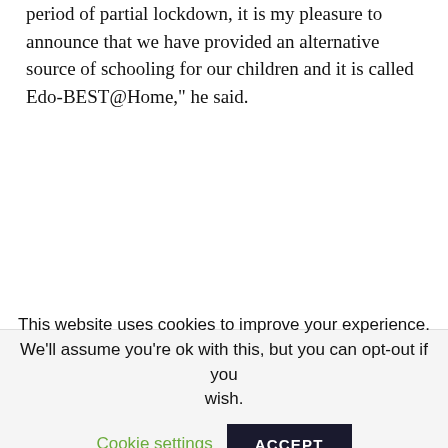period of partial lockdown, it is my pleasure to announce that we have provided an alternative source of schooling for our children and it is called Edo-BEST@Home," he said.
This website uses cookies to improve your experience. We'll assume you're ok with this, but you can opt-out if you wish. Cookie settings ACCEPT